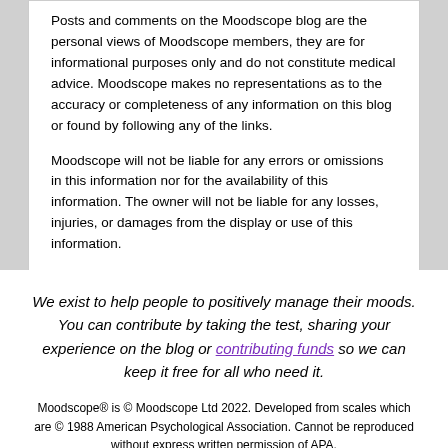Posts and comments on the Moodscope blog are the personal views of Moodscope members, they are for informational purposes only and do not constitute medical advice. Moodscope makes no representations as to the accuracy or completeness of any information on this blog or found by following any of the links.

Moodscope will not be liable for any errors or omissions in this information nor for the availability of this information. The owner will not be liable for any losses, injuries, or damages from the display or use of this information.
We exist to help people to positively manage their moods. You can contribute by taking the test, sharing your experience on the blog or contributing funds so we can keep it free for all who need it.
Moodscope® is © Moodscope Ltd 2022. Developed from scales which are © 1988 American Psychological Association. Cannot be reproduced without express written permission of APA.